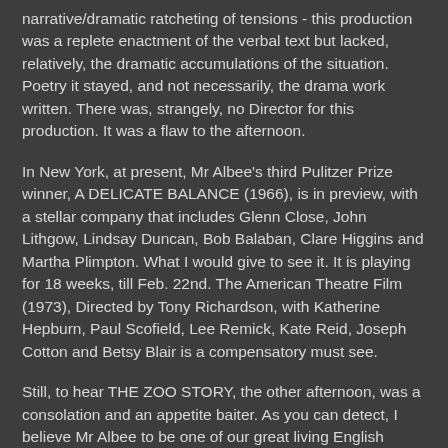narrative/dramatic ratcheting of tensions - this production was a replete enactment of the verbal text but lacked, relatively, the dramatic accumulations of the situation. Poetry it stayed, and not necessarily, the drama work written. There was, strangely, no Director for this production. It was a flaw to the afternoon.
In New York, at present, Mr Albee's third Pulitzer Prize winner, A DELICATE BALANCE (1966), is in preview, with a stellar company that includes Glenn Close, John Lithgow, Lindsay Duncan, Bob Balaban, Clare Higgins and Martha Plimpton. What I would give to see it. It is playing for 18 weeks, till Feb. 22nd. The American Theatre Film (1973), Directed by Tony Richardson, with Katherine Hepburn, Paul Scofield, Lee Remick, Kate Reid, Joseph Cotton and Betsy Blair is a compensatory must see.
Still, to hear THE ZOO STORY, the other afternoon, was a consolation and an appetite baiter. As you can detect, I believe Mr Albee to be one of our great living English speaking writers.